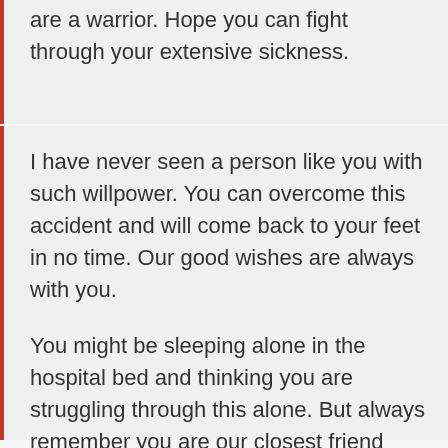are a warrior. Hope you can fight through your extensive sickness.
I have never seen a person like you with such willpower. You can overcome this accident and will come back to your feet in no time. Our good wishes are always with you.
You might be sleeping alone in the hospital bed and thinking you are struggling through this alone. But always remember you are our closest friend and our support and courage are always with you. Get well soon